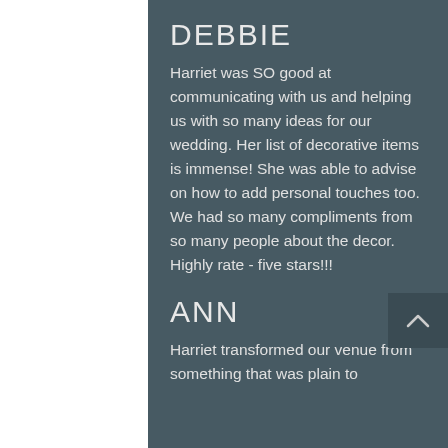DEBBIE
Harriet was SO good at communicating with us and helping us with so many ideas for our wedding. Her list of decorative items is immense! She was able to advise on how to add personal touches too. We had so many compliments from so many people about the decor. Highly rate - five stars!!!
ANN
Harriet transformed our venue from something that was plain to